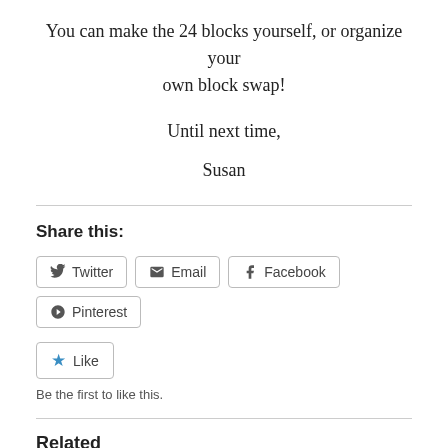You can make the 24 blocks yourself, or organize your own block swap!
Until next time,
Susan
Share this:
Twitter  Email  Facebook  Pinterest
Like
Be the first to like this.
Related
New Pattern, Dresden Village & A Give-Away Too!
November 20, 2019